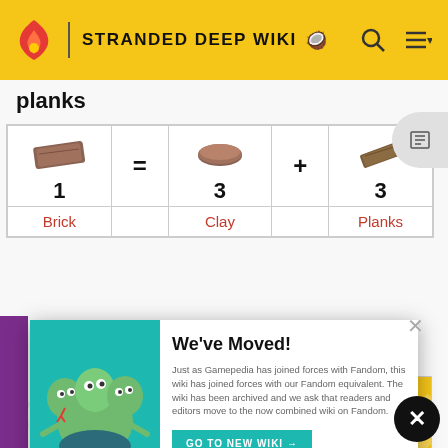STRANDED DEEP WIKI
planks
| Item | = | Clay x3 | + | Planks x3 |
| --- | --- | --- | --- | --- |
| Brick 1 | = | Clay 3 | + | Planks 3 |
| Brick |  | Clay |  | Planks |
[Figure (screenshot): We've Moved popup from Gamepedia/Fandom with teal background and cartoon monster illustration]
[Figure (infographic): Army National Guard advertisement: RESTLESS? NO. RELENTLESS. DISCOVER YOUR PATH]
| = |  |